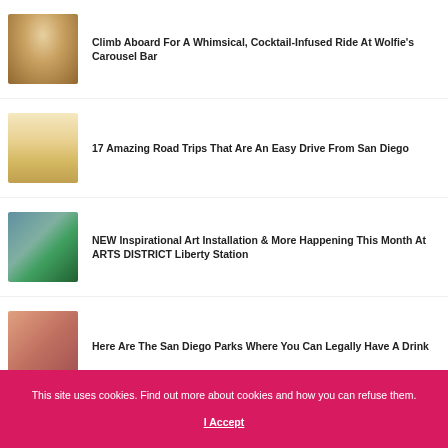[Figure (photo): Interior of a carousel bar with people sitting at bar stools around a circular bar]
Climb Aboard For A Whimsical, Cocktail-Infused Ride At Wolfie's Carousel Bar
[Figure (photo): Desert sand dunes with a tiny red figure in the distance]
17 Amazing Road Trips That Are An Easy Drive From San Diego
[Figure (photo): Person in a blue jacket photographing trees outdoors]
NEW Inspirational Art Installation & More Happening This Month At ARTS DISTRICT Liberty Station
[Figure (photo): Two people outdoors, one appears to be drinking]
Here Are The San Diego Parks Where You Can Legally Have A Drink
This site uses cookies. Find out more about cookies and how you can refuse them.
I Accept